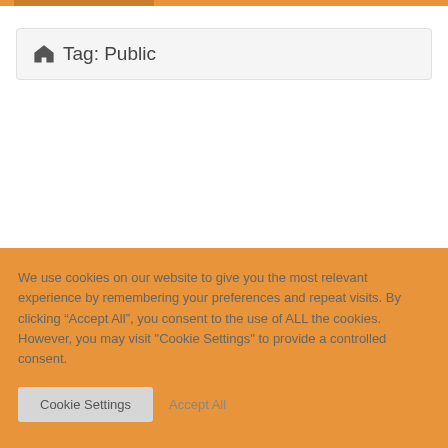Tag: Public
We use cookies on our website to give you the most relevant experience by remembering your preferences and repeat visits. By clicking “Accept All”, you consent to the use of ALL the cookies. However, you may visit "Cookie Settings" to provide a controlled consent.
Cookie Settings   Accept All